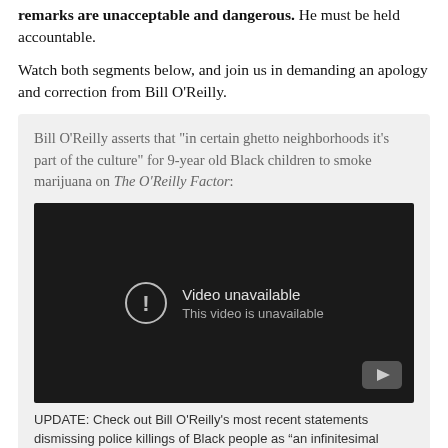remarks are unacceptable and dangerous. He must be held accountable.
Watch both segments below, and join us in demanding an apology and correction from Bill O'Reilly.
Bill O'Reilly asserts that "in certain ghetto neighborhoods it's part of the culture" for 9-year old Black children to smoke marijuana on The O'Reilly Factor:
[Figure (screenshot): Embedded YouTube video player showing 'Video unavailable' message with 'This video is unavailable' subtitle on dark background. YouTube logo icon in bottom-right corner.]
UPDATE: Check out Bill O'Reilly's most recent statements dismissing police killings of Black people as "an infinitesimal situation," something that "doesn't happen that much":